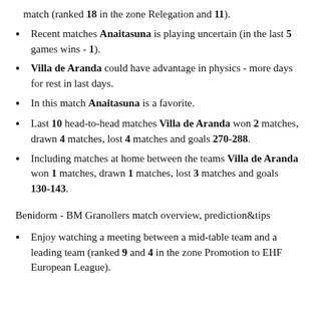match (ranked 18 in the zone Relegation and 11).
Recent matches Anaitasuna is playing uncertain (in the last 5 games wins - 1).
Villa de Aranda could have advantage in physics - more days for rest in last days.
In this match Anaitasuna is a favorite.
Last 10 head-to-head matches Villa de Aranda won 2 matches, drawn 4 matches, lost 4 matches and goals 270-288.
Including matches at home between the teams Villa de Aranda won 1 matches, drawn 1 matches, lost 3 matches and goals 130-143.
Benidorm - BM Granollers match overview, prediction&tips
Enjoy watching a meeting between a mid-table team and a leading team (ranked 9 and 4 in the zone Promotion to EHF European League).